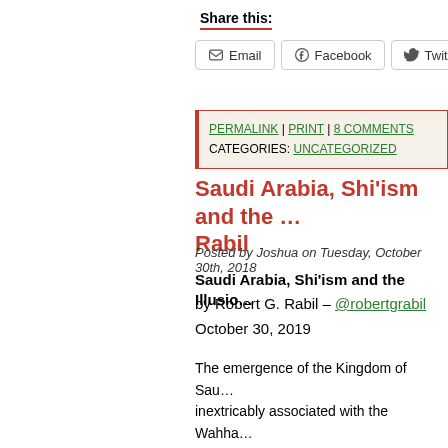Share this:
Email | Facebook | Twitter
PERMALINK | PRINT | 8 COMMENTS
CATEGORIES: UNCATEGORIZED
Saudi Arabia, Shi'ism and the … Rabil
Posted by Joshua on Tuesday, October 30th, 2018
Saudi Arabia, Shi'ism and the Illusio…
by Robert G. Rabil – @robertgrabil
October 30, 2019
The emergence of the Kingdom of Sau… inextricably associated with the Wahha… The Saudi-Wahhabi pact goes back to … century when Sheikh Muhammad ibn 'A… Wahhab (1703-1792), the founder of th… Salafi school of Islam traveled to Diriya… Saudi tribe, and struck a deal with its ch… the interest of both parties by expandin… political and religious influence through… of Najd and Hijaz.